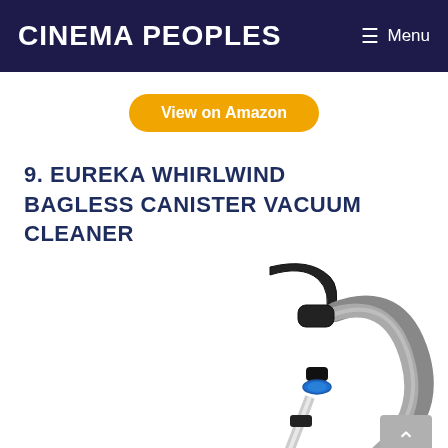Cinema Peoples  ≡ Menu
View on Amazon
9. EUREKA WHIRLWIND BAGLESS CANISTER VACUUM CLEANER
[Figure (photo): Photo of a blue and silver Eureka Whirlwind Bagless Canister Vacuum Cleaner wand and hose, shown from the top portion including the handle and telescoping tube with a blue accent ring.]